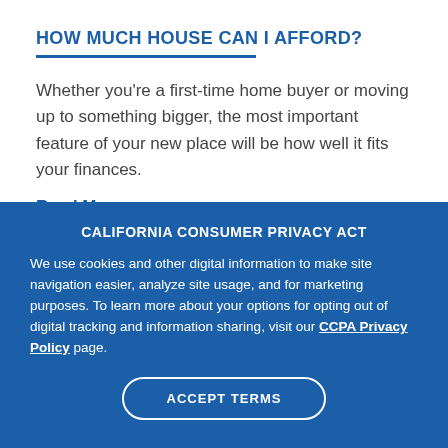HOW MUCH HOUSE CAN I AFFORD?
Whether you're a first-time home buyer or moving up to something bigger, the most important feature of your new place will be how well it fits your finances.
Read More
CALIFORNIA CONSUMER PRIVACY ACT
We use cookies and other digital information to make site navigation easier, analyze site usage, and for marketing purposes. To learn more about your options for opting out of digital tracking and information sharing, visit our CCPA Privacy Policy page.
ACCEPT TERMS